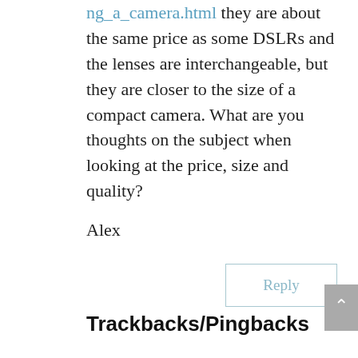ng_a_camera.html they are about the same price as some DSLRs and the lenses are interchangeable, but they are closer to the size of a compact camera. What are you thoughts on the subject when looking at the price, size and quality?
Alex
Reply
Trackbacks/Pingbacks
1. How to Take Better Travel Photographs: Composition - A Cruising Couple - [...] Play Prev Next [...]